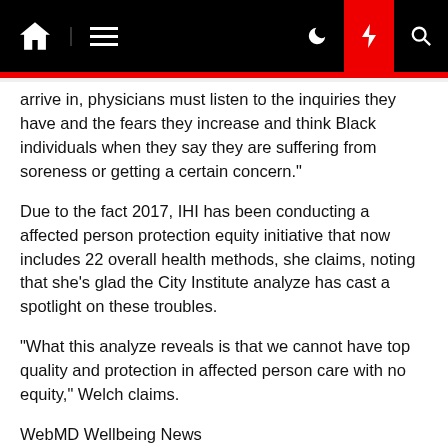Navigation bar with home, menu, dark mode, lightning, and search icons
arrive in, physicians must listen to the inquiries they have and the fears they increase and think Black individuals when they say they are suffering from soreness or getting a certain concern."
Due to the fact 2017, IHI has been conducting a affected person protection equity initiative that now includes 22 overall health methods, she claims, noting that she's glad the City Institute analyze has cast a spotlight on these troubles.
"What this analyze reveals is that we cannot have top quality and protection in affected person care with no equity," Welch claims.
WebMD Wellbeing News
Sources